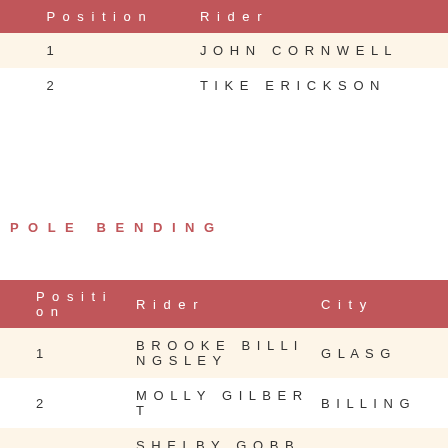|  | Position | Rider |
| --- | --- | --- |
|  | 1 | JOHN CORNWELL |
|  | 2 | TIKE ERICKSON |
POLE BENDING
|  | Position | Rider | City |
| --- | --- | --- | --- |
|  | 1 | BROOKE BILLINGSLEY | GLASG |
|  | 2 | MOLLY GILBERT | BILLING |
|  | 3 | SHELBY GOBBS | GLEND |
|  | 3 | ELLE WERNER | CLANC |
| R | 5 | CHLOE LAFROMBOISE | HELENA |
|  | 6 | AVA MALONE | PRAY, M |
|  | 7 | CAIDYNCE WARREN | HARDIN |
| R | 8 | PEYTON SIMMONS | BROAD |
|  | 9 | RACHEL WARD | PHILIPS |
|  | 9 | HALLE TAYLOR | BOZEM |
|  | 11 | HAILEY GLIKO | BELT, M |
| R | 11 | RUBY RAY | WHITE |